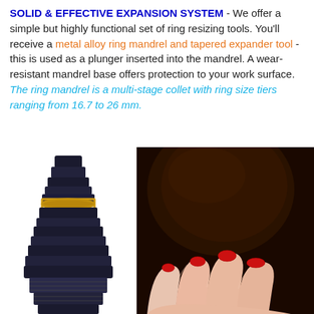SOLID & EFFECTIVE EXPANSION SYSTEM - We offer a simple but highly functional set of ring resizing tools. You'll receive a metal alloy ring mandrel and tapered expander tool - this is used as a plunger inserted into the mandrel. A wear-resistant mandrel base offers protection to your work surface. The ring mandrel is a multi-stage collet with ring size tiers ranging from 16.7 to 26 mm.
[Figure (photo): Black multi-stage ring mandrel collet with a gold/brass ring placed on one of its tiers]
[Figure (photo): Close-up of a hand with red nail polish resting on a dark rounded surface (ring mandrel in use)]